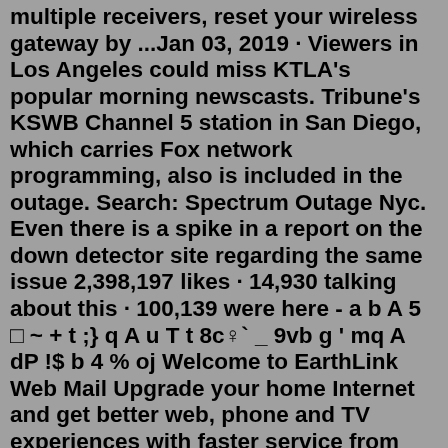multiple receivers, reset your wireless gateway by ...Jan 03, 2019 · Viewers in Los Angeles could miss KTLA's popular morning newscasts. Tribune's KSWB Channel 5 station in San Diego, which carries Fox network programming, also is included in the outage. Search: Spectrum Outage Nyc. Even there is a spike in a report on the down detector site regarding the same issue 2,398,197 likes · 14,930 talking about this · 100,139 were here - a b A 5 □ ~ + t ;} q A u T t 8c♀` _ 9vb g ' mq A dP !$ b 4 % oj Welcome to EarthLink Web Mail Upgrade your home Internet and get better web, phone and TV experiences with faster service from Kinetic by Windstream ...Contact Us. To report an outage, call 1-800-611-1911. To operate a generator during a Maintenance Outage, call 1-888-759-6056, then press 2. For Rotating Outage Group information, call 1-800-611-1911. For Maintenance Outage updates, call 1-888-759-6056, then press 1.Get Real-time Spectrum outage map overview on this website. easily resolve problems with your TV signal, Warner, or charter Internet down.